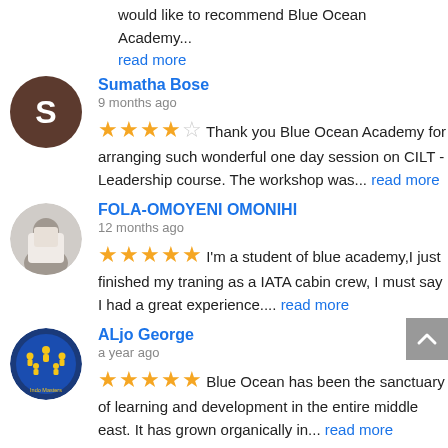would like to recommend Blue Ocean Academy...
read more
Sumatha Bose
9 months ago
Thank you Blue Ocean Academy for arranging such wonderful one day session on CILT -Leadership course. The workshop was... read more
FOLA-OMOYENI OMONIHI
12 months ago
I'm a student of blue academy,I just finished my traning as a IATA cabin crew,  I must say I had a great experience.... read more
ALjo George
a year ago
Blue Ocean has been the sanctuary of learning and development in the entire middle east. It has grown organically in... read more
Next Reviews